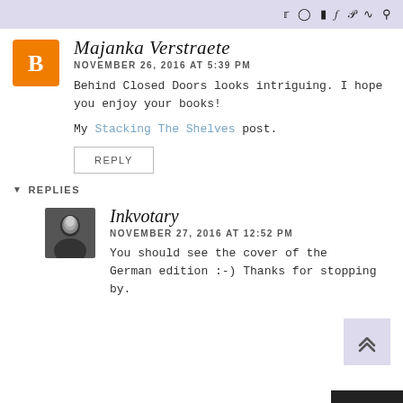social icons: twitter, instagram, blog, facebook, pinterest, rss, search
Majanka Verstraete
NOVEMBER 26, 2016 AT 5:39 PM
Behind Closed Doors looks intriguing. I hope you enjoy your books!
My Stacking The Shelves post.
REPLY
REPLIES
Inkvotary
NOVEMBER 27, 2016 AT 12:52 PM
You should see the cover of the German edition :-) Thanks for stopping by.